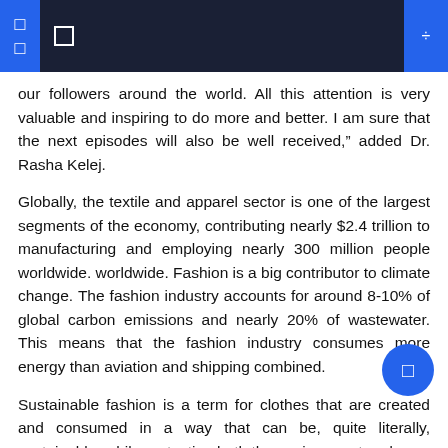our followers around the world. All this attention is very valuable and inspiring to do more and better. I am sure that the next episodes will also be well received,” added Dr. Rasha Kelej.
Globally, the textile and apparel sector is one of the largest segments of the economy, contributing nearly $2.4 trillion to manufacturing and employing nearly 300 million people worldwide. worldwide. Fashion is a big contributor to climate change. The fashion industry accounts for around 8-10% of global carbon emissions and nearly 20% of wastewater. This means that the fashion industry consumes more energy than aviation and shipping combined.
Sustainable fashion is a term for clothes that are created and consumed in a way that can be, quite literally, sustainable, while protecting both the environment and